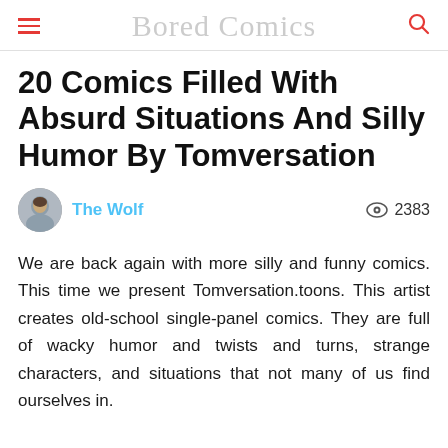Bored Comics
20 Comics Filled With Absurd Situations And Silly Humor By Tomversation
The Wolf   2383
We are back again with more silly and funny comics. This time we present Tomversation.toons. This artist creates old-school single-panel comics. They are full of wacky humor and twists and turns, strange characters, and situations that not many of us find ourselves in.